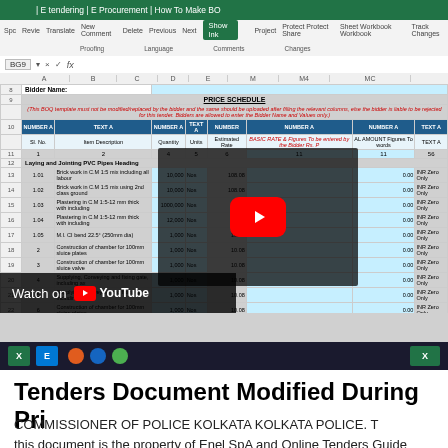[Figure (screenshot): Screenshot of a YouTube video thumbnail showing an Excel spreadsheet with a Price Schedule / BOQ template for E-tendering / E-Procurement. The spreadsheet shows columns for Item Description, Quantity, Units, Estimated Rate, Basic Rate, and Total Amount. A YouTube play button overlay is visible in the center. A 'Watch on YouTube' button appears at the bottom left.]
Tenders Document Modified During Pri
COMMISSIONER OF POLICE KOLKATA KOLKATA POLICE. T this document is the property of Enel SpA and Online Tenders Guide